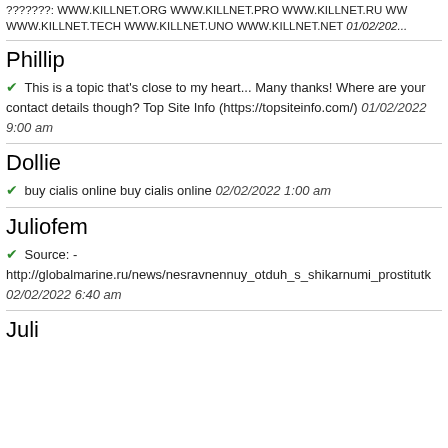???????: WWW.KILLNET.ORG WWW.KILLNET.PRO WWW.KILLNET.RU WW WWW.KILLNET.TECH WWW.KILLNET.UNO WWW.KILLNET.NET 01/02/202...
Phillip
✔ This is a topic that's close to my heart... Many thanks! Where are your contact details though? Top Site Info (https://topsiteinfo.com/) 01/02/2022 9:00 am
Dollie
✔ buy cialis online buy cialis online 02/02/2022 1:00 am
Juliofem
✔ Source: - http://globalmarine.ru/news/nesravnennuy_otduh_s_shikarnumi_prostitutk... 02/02/2022 6:40 am